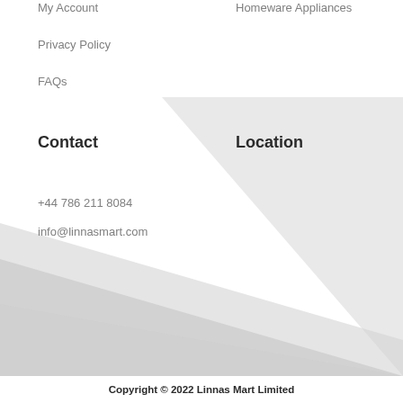My Account
Privacy Policy
FAQs
Homeware Appliances
Contact
Location
+44 786 211 8084
info@linnasmart.com
[Figure (illustration): Decorative diagonal grey shape background filling the lower portion of the page]
Copyright © 2022 Linnas Mart Limited